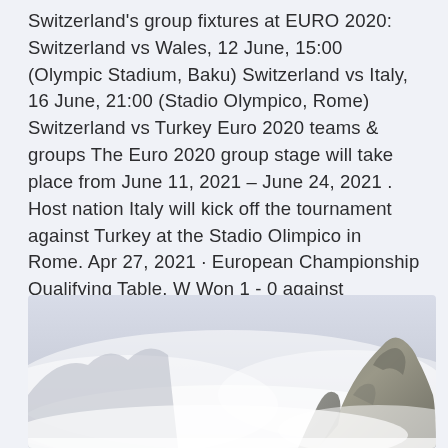Switzerland's group fixtures at EURO 2020: Switzerland vs Wales, 12 June, 15:00 (Olympic Stadium, Baku) Switzerland vs Italy, 16 June, 21:00 (Stadio Olympico, Rome) Switzerland vs Turkey Euro 2020 teams & groups The Euro 2020 group stage will take place from June 11, 2021 – June 24, 2021 . Host nation Italy will kick off the tournament against Turkey at the Stadio Olimpico in Rome. Apr 27, 2021 · European Championship Qualifying Table. W Won 1 - 0 against Switzerland on October 12th 2019.
[Figure (photo): Mountain landscape with rocky peak emerging through misty clouds against a pale sky]